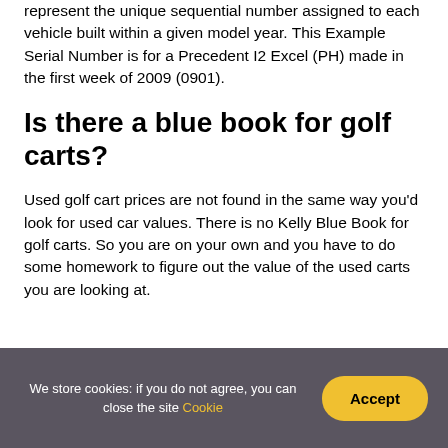represent the unique sequential number assigned to each vehicle built within a given model year. This Example Serial Number is for a Precedent I2 Excel (PH) made in the first week of 2009 (0901).
Is there a blue book for golf carts?
Used golf cart prices are not found in the same way you'd look for used car values. There is no Kelly Blue Book for golf carts. So you are on your own and you have to do some homework to figure out the value of the used carts you are looking at.
We store cookies: if you do not agree, you can close the site Cookie  Accept